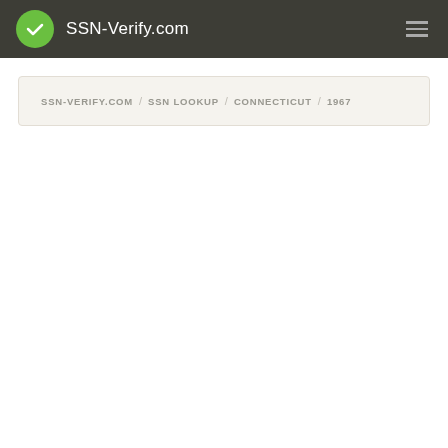SSN-Verify.com
SSN-VERIFY.COM / SSN LOOKUP / CONNECTICUT / 1967